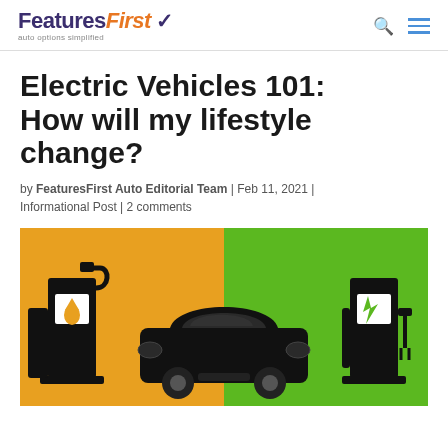FeaturesFirst auto options simplified
Electric Vehicles 101: How will my lifestyle change?
by FeaturesFirst Auto Editorial Team | Feb 11, 2021 | Informational Post | 2 comments
[Figure (illustration): Illustration showing a car between a gas pump (orange background, oil drop icon) on the left and an electric charging station (green background, lightning bolt icon) on the right]